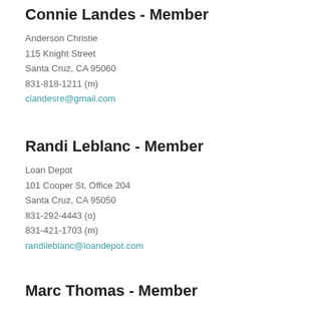Connie Landes - Member
Anderson Christie
115 Knight Street
Santa Cruz, CA 95060
831-818-1211 (m)
clandesre@gmail.com
Randi Leblanc - Member
Loan Depot
101 Cooper St, Office 204
Santa Cruz, CA 95050
831-292-4443 (o)
831-421-1703 (m)
randileblanc@loandepot.com
Marc Thomas - Member